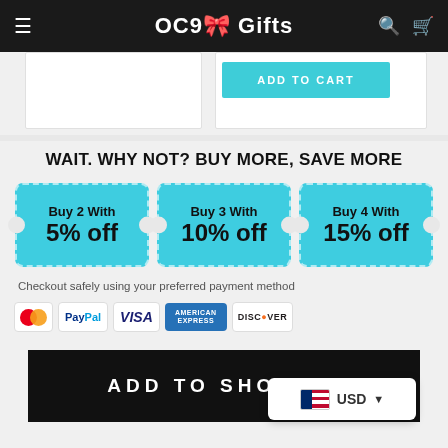OC9 Gifts
[Figure (screenshot): Add to Cart button in teal/cyan color]
WAIT. WHY NOT? BUY MORE, SAVE MORE
[Figure (infographic): Three coupon badges: Buy 2 With 5% off, Buy 3 With 10% off, Buy 4 With 15% off]
Checkout safely using your preferred payment method
[Figure (infographic): Payment method icons: Mastercard, PayPal, VISA, American Express, Discover]
ADD TO SHOPPING
[Figure (infographic): Currency selector widget showing USD with US flag]